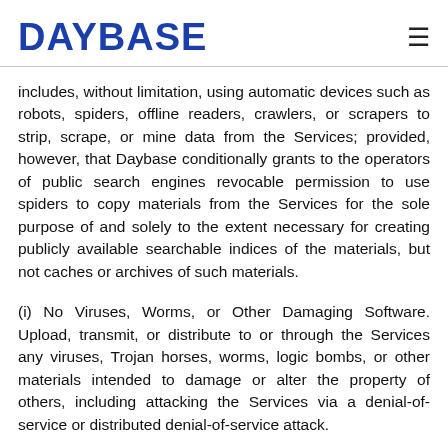DAYBASE
includes, without limitation, using automatic devices such as robots, spiders, offline readers, crawlers, or scrapers to strip, scrape, or mine data from the Services; provided, however, that Daybase conditionally grants to the operators of public search engines revocable permission to use spiders to copy materials from the Services for the sole purpose of and solely to the extent necessary for creating publicly available searchable indices of the materials, but not caches or archives of such materials.
(i) No Viruses, Worms, or Other Damaging Software. Upload, transmit, or distribute to or through the Services any viruses, Trojan horses, worms, logic bombs, or other materials intended to damage or alter the property of others, including attacking the Services via a denial-of-service or distributed denial-of-service attack.